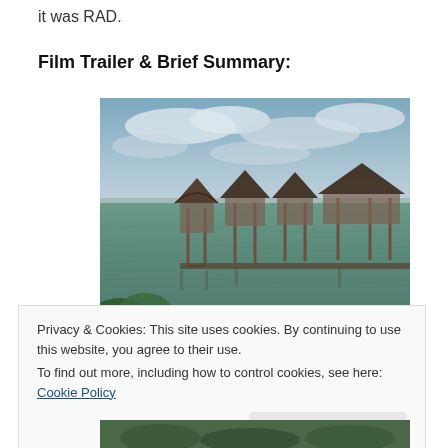it was RAD.
Film Trailer & Brief Summary:
[Figure (photo): Overwater thatched-roof huts on stilts over a calm tropical lake or lagoon, with cloudy sky above and green foliage in the lower left foreground.]
Privacy & Cookies: This site uses cookies. By continuing to use this website, you agree to their use.
To find out more, including how to control cookies, see here: Cookie Policy
Close and accept